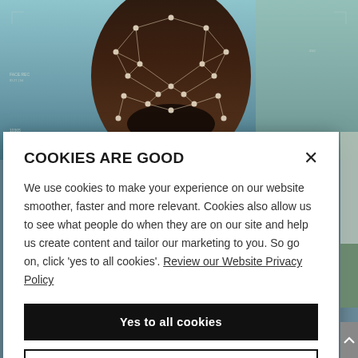[Figure (photo): Background photo of a man's face with facial recognition overlay — geometric dots and lines mapping facial features on a dark-skinned man in a white shirt, with data labels visible on the sides of the image.]
COOKIES ARE GOOD
We use cookies to make your experience on our website smoother, faster and more relevant. Cookies also allow us to see what people do when they are on our site and help us create content and tailor our marketing to you. So go on, click 'yes to all cookies'. Review our Website Privacy Policy
Yes to all cookies
Let me choose